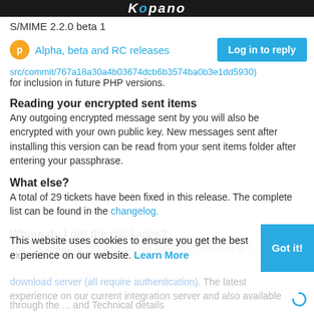Kopano S/MIME 2.2.0 beta 1
Alpha, beta and RC releases
src/commit/767a18a30a4b0367 4dcb6b3574ba0b3e1dd5930)
for inclusion in future PHP versions.
Reading your encrypted sent items
Any outgoing encrypted message sent by you will also be encrypted with your own public key. New messages sent after installing this version can be read from your sent items folder after entering your passphrase.
What else?
A total of 29 tickets have been fixed in this release. The complete list can be found in the changelog.
Where do I get the packages?
The packages to this release are available. You can download
This website uses cookies to ensure you get the best experience on our website. Learn More
download server (all require authentication). The latest
through the ... and Technical details